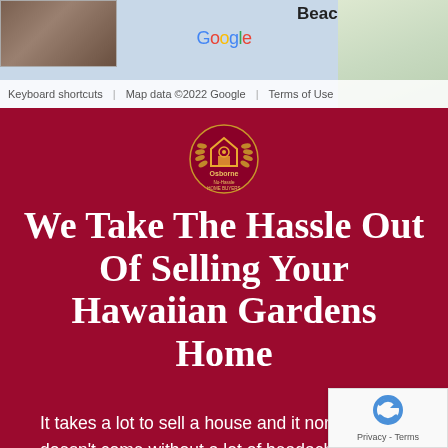[Figure (screenshot): Google Maps strip showing a map with 'Beach' label, map thumbnail, Google logo, keyboard shortcuts, map data copyright notice, and Terms of Use link]
[Figure (logo): Osborne No-Hassle Home Buyers circular logo in gold/orange on dark red background]
We Take The Hassle Out Of Selling Your Hawaiian Gardens Home
It takes a lot to sell a house and it normally doesn't come without a lot of headache, tension and stress. The time it takes alone is unnerving. From staging and cleaning to pricing it right and negotiating; there are so many factors that go into getting your home